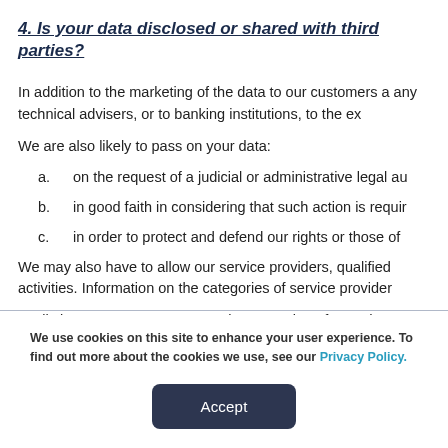4. Is your data disclosed or shared with third parties?
In addition to the marketing of the data to our customers a any technical advisers, or to banking institutions, to the ex
We are also likely to pass on your data:
a.  on the request of a judicial or administrative legal au
b.  in good faith in considering that such action is requir
c.  in order to protect and defend our rights or those of
We may also have to allow our service providers, qualified activities. Information on the categories of service provider
In all circumstances, we ensure the protection of your dat
We use cookies on this site to enhance your user experience. To find out more about the cookies we use, see our Privacy Policy.
Accept